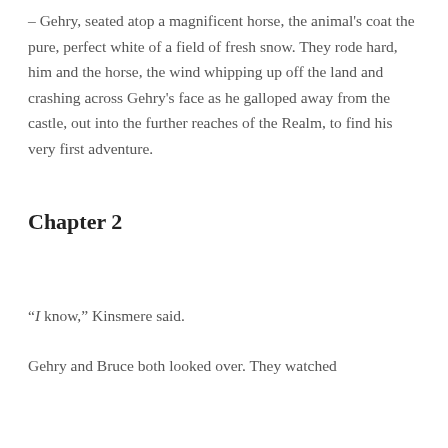– Gehry, seated atop a magnificent horse, the animal's coat the pure, perfect white of a field of fresh snow. They rode hard, him and the horse, the wind whipping up off the land and crashing across Gehry's face as he galloped away from the castle, out into the further reaches of the Realm, to find his very first adventure.
Chapter 2
“I know,” Kinsmere said.
Gehry and Bruce both looked over. They watched